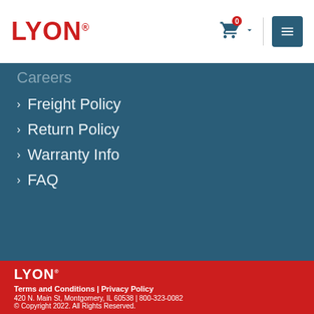LYON
Careers
Freight Policy
Return Policy
Warranty Info
FAQ
[Figure (other): Social media icons: Facebook, Twitter, LinkedIn]
LYON | Terms and Conditions | Privacy Policy | 420 N. Main St, Montgomery, IL 60538 | 800-323-0082 | © Copyright 2022. All Rights Reserved.